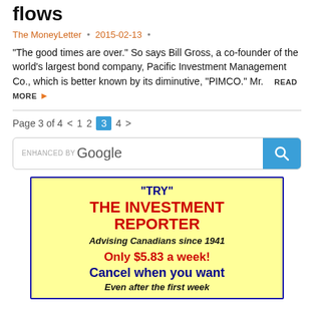flows
The MoneyLetter • 2015-02-13 •
“The good times are over.” So says Bill Gross, a co-founder of the world’s largest bond company, Pacific Investment Management Co., which is better known by its diminutive, “PIMCO.” Mr.   READ MORE ►
Page 3 of 4  <  1  2  3  4  >
[Figure (screenshot): Google search bar with blue search button]
[Figure (infographic): Advertisement box with yellow background and blue border promoting The Investment Reporter subscription: 'TRY' THE INVESTMENT REPORTER, Advising Canadians since 1941, Only $5.83 a week! Cancel when you want, Even after the first week]